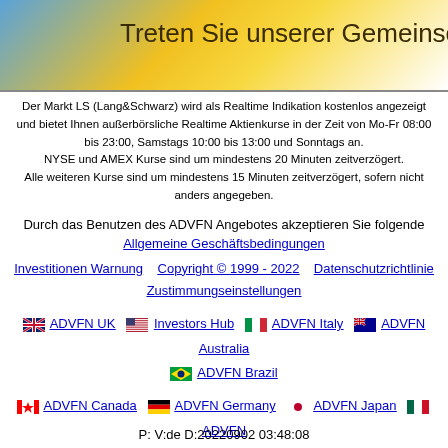[Figure (illustration): Banner with blue and yellow/gold gradient background, partial text 'Treten Sie unserer Gemeinschaft']
Der Markt LS (Lang&Schwarz) wird als Realtime Indikation kostenlos angezeigt und bietet Ihnen außerbörsliche Realtime Aktienkurse in der Zeit von Mo-Fr 08:00 bis 23:00, Samstags 10:00 bis 13:00 und Sonntags an. NYSE und AMEX Kurse sind um mindestens 20 Minuten zeitverzögert. Alle weiteren Kurse sind um mindestens 15 Minuten zeitverzögert, sofern nicht anders angegeben.
Durch das Benutzen des ADVFN Angebotes akzeptieren Sie folgende
Allgemeine Geschäftsbedingungen
Investitionen Warnung    Copyright © 1999 - 2022    Datenschutzrichtlinie    Zustimmungseinstellungen
ADVFN UK   Investors Hub   ADVFN Italy   ADVFN Australia   ADVFN Brazil
ADVFN Canada   ADVFN Germany   ADVFN Japan   ADVFN Mexico
ADVFN France   ADVFN US
P: V:de D:20220902 03:48:08